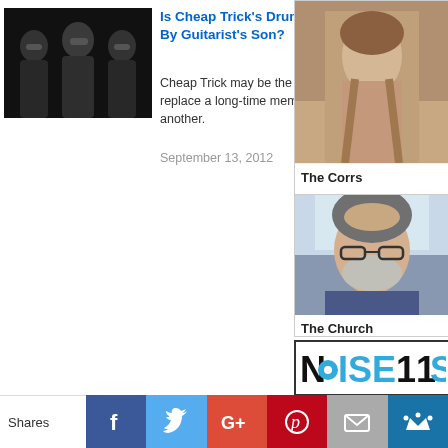[Figure (photo): Black and white photo of Cheap Trick band members wearing sunglasses]
Is Cheap Trick's Drummer To Be Replaced By Guitarist's Son?
Cheap Trick may be the second major group to replace a long-time member with the son of another.
September 13, 2012
[Figure (photo): The Corrs - partial photo of a woman]
The Corrs
[Figure (photo): The Church - photo of middle-aged man with glasses and beard]
The Church
[Figure (logo): Noise11 logo]
Shares